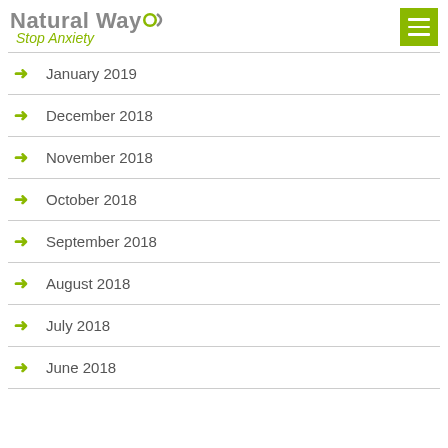[Figure (logo): Natural Way Stop Anxiety logo with green circle dot and menu hamburger icon]
January 2019
December 2018
November 2018
October 2018
September 2018
August 2018
July 2018
June 2018